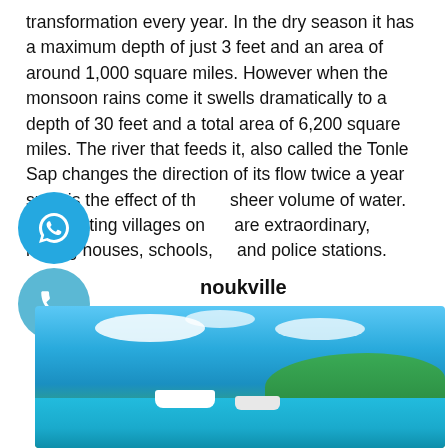transformation every year. In the dry season it has a maximum depth of just 3 feet and an area of around 1,000 square miles. However when the monsoon rains come it swells dramatically to a depth of 30 feet and a total area of 6,200 square miles. The river that feeds it, also called the Tonle Sap changes the direction of its flow twice a year such is the effect of the sheer volume of water. The floating villages on it are extraordinary, having houses, schools, and police stations.
noukville
[Figure (photo): Coastal scene with turquoise water, boats, green hillside, and blue sky with clouds — appears to be Sihanoukville, Cambodia.]